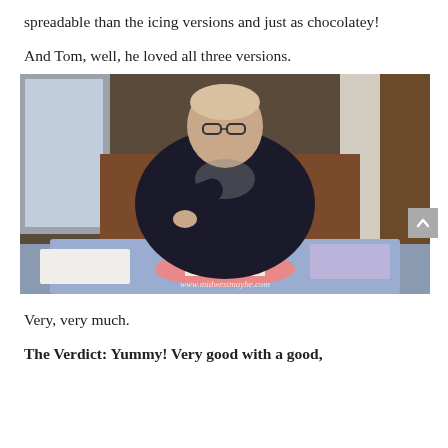spreadable than the icing versions and just as chocolatey!
And Tom, well, he loved all three versions.
[Figure (photo): A man wearing glasses and a dark jacket sits at a table, holding a fork, about to eat a slice of cake on a pink plate. There is food and items on the table. A watermark reads www.midwestmaybe.com.]
Very, very much.
The Verdict: Yummy! Very good with a good,